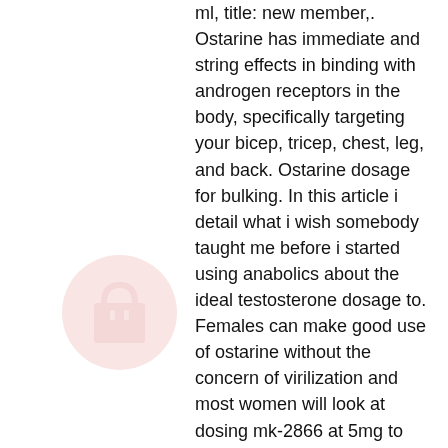ml, title: new member,. Ostarine has immediate and string effects in binding with androgen receptors in the body, specifically targeting your bicep, tricep, chest, leg, and back. Ostarine dosage for bulking. In this article i detail what i wish somebody taught me before i started using anabolics about the ideal testosterone dosage to. Females can make good use of ostarine without the concern of virilization and most women will look at dosing mk-2866 at 5mg to 15mg daily. Ostarine binds to the androgen receptors just like anabolic steroids do,. 97% pure pharmaceutical grade mk-2866 suspended in peg400 solution. This 30ml bottle has a total of 900mg ostarine. Each 1ml of mk2866 liquid contains
Ufc lightweight thibault gouti accepts six-month suspension from usada after testing positive for the banned substance ostarine. Mk 2866 (ostarine) is available at cheapest